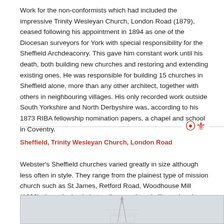Work for the non-conformists which had included the impressive Trinity Wesleyan Church, London Road (1879), ceased following his appointment in 1894 as one of the Diocesan surveyors for York with special responsibility for the Sheffield Archdeaconry. This gave him constant work until his death, both building new churches and restoring and extending existing ones. He was responsible for building 15 churches in Sheffield alone, more than any other architect, together with others in neighbouring villages. His only recorded work outside South Yorkshire and North Derbyshire was, according to his 1873 RIBA fellowship nomination papers, a chapel and school in Coventry.
Sheffield, Trinity Wesleyan Church, London Road
Webster's Sheffield churches varied greatly in size although less often in style. They range from the plainest type of mission church such as St James, Retford Road, Woodhouse Mill (1892), through simple but well-proportioned village churches such as Christ Church, Sheffield Road, Hackenthorpe (1899) to the
[Figure (photo): Photograph of a church spire, appears to be a pencil sketch or faded historical photograph showing a tall pointed spire of a church building against a light background.]